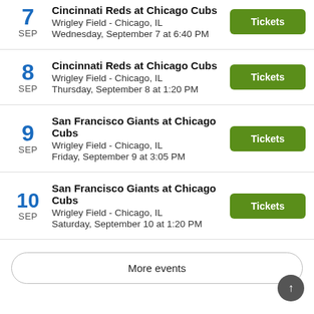7 SEP | Cincinnati Reds at Chicago Cubs | Wrigley Field - Chicago, IL | Wednesday, September 7 at 6:40 PM
8 SEP | Cincinnati Reds at Chicago Cubs | Wrigley Field - Chicago, IL | Thursday, September 8 at 1:20 PM
9 SEP | San Francisco Giants at Chicago Cubs | Wrigley Field - Chicago, IL | Friday, September 9 at 3:05 PM
10 SEP | San Francisco Giants at Chicago Cubs | Wrigley Field - Chicago, IL | Saturday, September 10 at 1:20 PM
More events